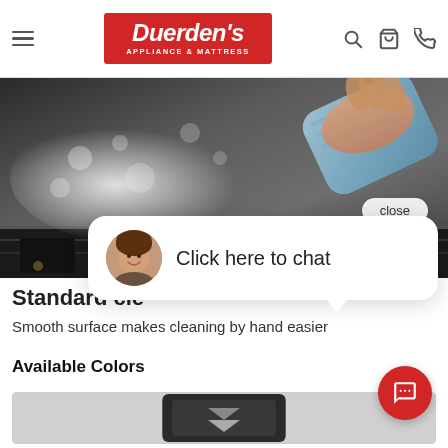Duerden's Appliance & Mattress - navigation header with hamburger menu, logo, search, cart, and phone icons
[Figure (photo): Hand wiping a dark oven/appliance surface with a blue cloth, with soap suds/foam visible on the surface]
close
Click here to chat
Standard cle
Smooth surface makes cleaning by hand easier
Available Colors
[Figure (photo): Bottom portion of a dark appliance product with a downward chevron/arrow indicating scrollable color options]